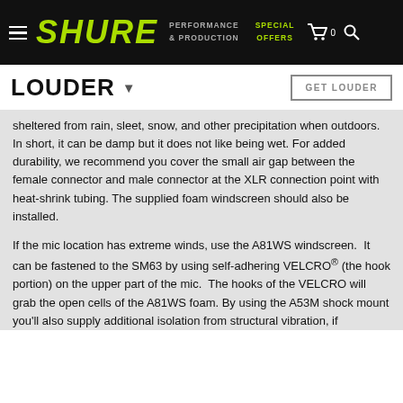SHURE | PERFORMANCE & PRODUCTION | SPECIAL OFFERS
LOUDER
sheltered from rain, sleet, snow, and other precipitation when outdoors. In short, it can be damp but it does not like being wet. For added durability, we recommend you cover the small air gap between the female connector and male connector at the XLR connection point with heat-shrink tubing. The supplied foam windscreen should also be installed.
If the mic location has extreme winds, use the A81WS windscreen.  It can be fastened to the SM63 by using self-adhering VELCRO® (the hook portion) on the upper part of the mic.  The hooks of the VELCRO will grab the open cells of the A81WS foam. By using the A53M shock mount you'll also supply additional isolation from structural vibration, if